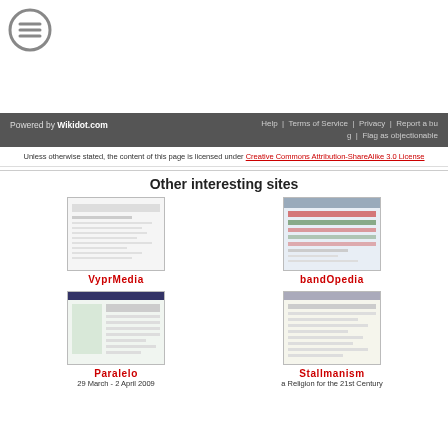[Figure (logo): Circular hamburger menu icon with three horizontal lines]
Powered by Wikidot.com | Help | Terms of Service | Privacy | Report a bug | Flag as objectionable
Unless otherwise stated, the content of this page is licensed under Creative Commons Attribution-ShareAlike 3.0 License
Other interesting sites
[Figure (screenshot): Screenshot thumbnail of VyprMedia website]
VyprMedia
[Figure (screenshot): Screenshot thumbnail of bandOpedia website]
bandOpedia
[Figure (screenshot): Screenshot thumbnail of Paralelo website]
Paralelo
29 March - 2 April 2009
[Figure (screenshot): Screenshot thumbnail of Stallmanism website]
Stallmanism
a Religion for the 21st Century